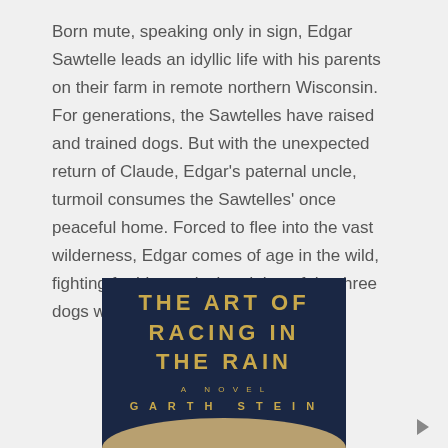Born mute, speaking only in sign, Edgar Sawtelle leads an idyllic life with his parents on their farm in remote northern Wisconsin. For generations, the Sawtelles have raised and trained dogs. But with the unexpected return of Claude, Edgar's paternal uncle, turmoil consumes the Sawtelles' once peaceful home. Forced to flee into the vast wilderness, Edgar comes of age in the wild, fighting for his survival and that of the three dogs who follow him.
[Figure (photo): Book cover of 'The Art of Racing in the Rain' by Garth Stein, showing a dark navy background with gold/yellow text and a dog silhouette at the bottom.]